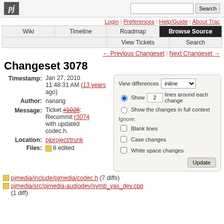[Figure (logo): pj logo in bold italic white text on dark background]
Login | Preferences | Help/Guide | About Trac
Wiki | Timeline | Roadmap | Browse Source | View Tickets | Search
← Previous Changeset | Next Changeset →
Changeset 3078
Timestamp: Jan 27, 2010 11:48:31 AM (13 years ago)
Author: nanang
Message: Ticket #1028: Recommit r3074 with updated codec.h.
Location: pjproject/trunk
Files: 8 edited
pjmedia/include/pjmedia/codec.h (7 diffs)
pjmedia/src/pjmedia-audiodev/symb_vas_dev.cpp (1 diff)